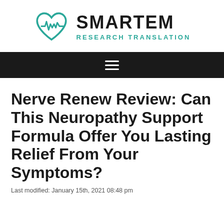[Figure (logo): SMARTEM Research Translation logo with teal heart and ECG line icon]
≡ (navigation hamburger menu)
Nerve Renew Review: Can This Neuropathy Support Formula Offer You Lasting Relief From Your Symptoms?
Last modified: January 15th, 2021 08:48 pm